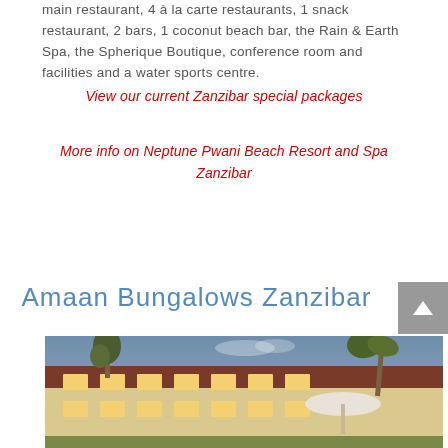main restaurant, 4 à la carte restaurants, 1 snack restaurant, 2 bars, 1 coconut beach bar, the Rain & Earth Spa, the Spherique Boutique, conference room and facilities and a water sports centre.
View our current Zanzibar special packages
More info on Neptune Pwani Beach Resort and Spa Zanzibar
Amaan Bungalows Zanzibar
[Figure (photo): Exterior view of Amaan Bungalows Zanzibar hotel at dusk, showing a two-storey building with lit windows, a dark roof, palm trees, and an umbrella in the foreground against a blue-grey sky.]